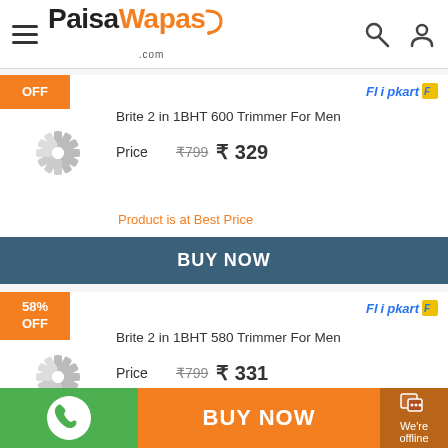PaisaWapas.com
OFF
Flipkart
Brite 2 in 1BHT 600 Trimmer For Men
Price ₹799 ₹329
Product is at Best Price
BUY NOW
58% OFF
Flipkart
Brite 2 in 1BHT 580 Trimmer For Men
Price ₹799 ₹331
BUY NOW  We're offline